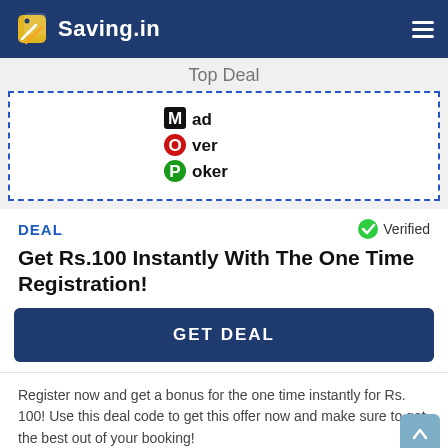Saving.in
Top Deal
[Figure (logo): Mad Over Poker logo with colored letters M, O, P in black, red, and green respectively]
DEAL
Verified
Get Rs.100 Instantly With The One Time Registration!
GET DEAL
Register now and get a bonus for the one time instantly for Rs. 100! Use this deal code to get this offer now and make sure to get the best out of your booking!